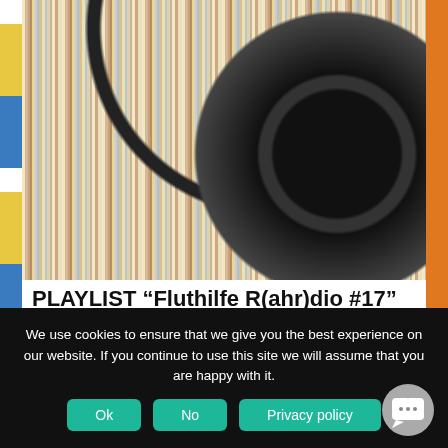[Figure (photo): Photo of vinyl record albums stacked upright with a Grado Labs Prestige Series SR80 headphone leaning against them on a wooden surface]
PLAYLIST “Fluthilfe R(ahr)dio #17” (09.12.2021)
Dire Straits – Private Investigations
Genesis – I Can’t Dance
We use cookies to ensure that we give you the best experience on our website. If you continue to use this site we will assume that you are happy with it.
Ok | No | Privacy policy